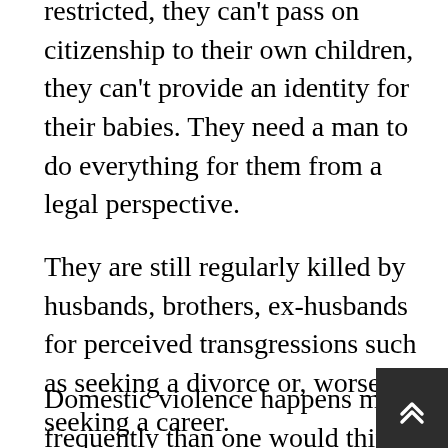restricted, they can't pass on citizenship to their own children, they can't provide an identity for their babies. They need a man to do everything for them from a legal perspective.
They are still regularly killed by husbands, brothers, ex-husbands for perceived transgressions such as seeking a divorce or, worse, seeking a career.
Domestic violence happens more frequently than one would think. National statistics don't exist, no one really counts the victims of